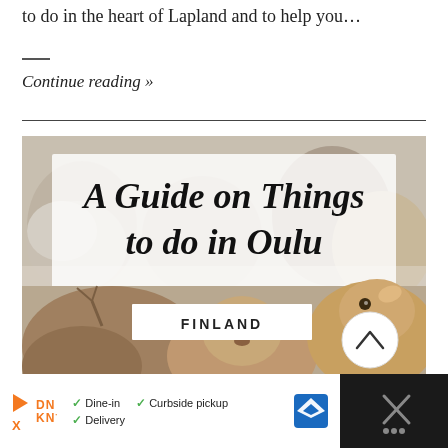to do in the heart of Lapland and to help you…
Continue reading »
[Figure (photo): A travel guide image for Oulu Finland showing reindeer in snow with text overlay 'A Guide on Things to do in Oulu Finland']
[Figure (other): Advertisement bar: Dunkin' Donuts ad showing Dine-in, Curbside pickup, and Delivery options with navigation icon]